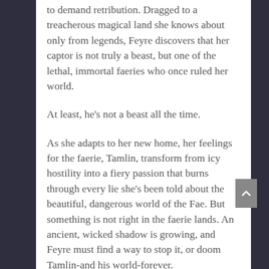to demand retribution. Dragged to a treacherous magical land she knows about only from legends, Feyre discovers that her captor is not truly a beast, but one of the lethal, immortal faeries who once ruled her world.
At least, he’s not a beast all the time.
As she adapts to her new home, her feelings for the faerie, Tamlin, transform from icy hostility into a fiery passion that burns through every lie she’s been told about the beautiful, dangerous world of the Fae. But something is not right in the faerie lands. An ancient, wicked shadow is growing, and Feyre must find a way to stop it, or doom Tamlin-and his world-forever.